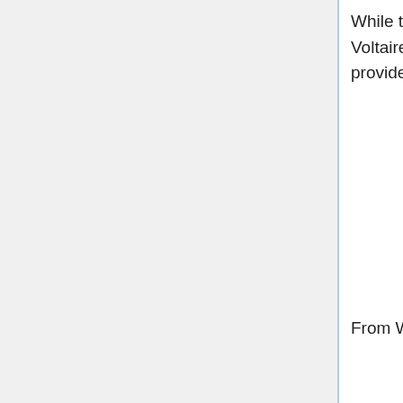While the Voltaire quote is on many websites and usually attributed to Voltaire our librarians were unable to find its source. Perhaps a reader can provide this. However in our search we did find a similar quotation:
A lottery is a taxation, Upon all the fools in Creation;

And Heav'n be prais'd, It is easily rais'd, Credulity's always in fashion;
For, folly's a fund, Will never lose ground,

While fools are so rife in the Nation.
Henry Fiellding 1707-54
From Wikipedia we read:
Henry Fielding was an English novelist and dramatist known for his rich